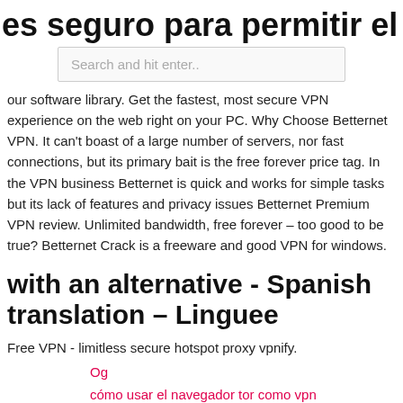es seguro para permitir el acceso co
Search and hit enter..
our software library. Get the fastest, most secure VPN experience on the web right on your PC. Why Choose Betternet VPN. It can't boast of a large number of servers, nor fast connections, but its primary bait is the free forever price tag. In the VPN business Betternet is quick and works for simple tasks but its lack of features and privacy issues Betternet Premium VPN review. Unlimited bandwidth, free forever – too good to be true? Betternet Crack is a freeware and good VPN for windows.
with an alternative - Spanish translation – Linguee
Free VPN - limitless secure hotspot proxy vpnify.
Og
cómo usar el navegador tor como vpn
kodi mls en vivo